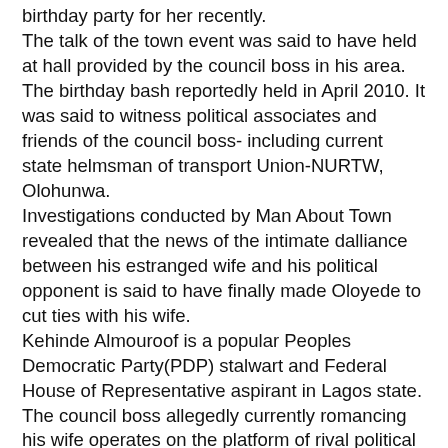birthday party for her recently. The talk of the town event was said to have held at hall provided by the council boss in his area. The birthday bash reportedly held in April 2010. It was said to witness political associates and friends of the council boss- including current state helmsman of transport Union-NURTW, Olohunwa. Investigations conducted by Man About Town revealed that the news of the intimate dalliance between his estranged wife and his political opponent is said to have finally made Oloyede to cut ties with his wife. Kehinde Almouroof is a popular Peoples Democratic Party(PDP) stalwart and Federal House of Representative aspirant in Lagos state. The council boss allegedly currently romancing his wife operates on the platform of rival political party, Action Congress. Investigations revealed that since news of the affair reached Oloyede , he withdrew his children- 5- from the care of his wife. He is said to quarter them at his magodo Lagos home. His estranged wife is said to presently reside in Ikorodu Lagos. Information made available to Man About Town has it that